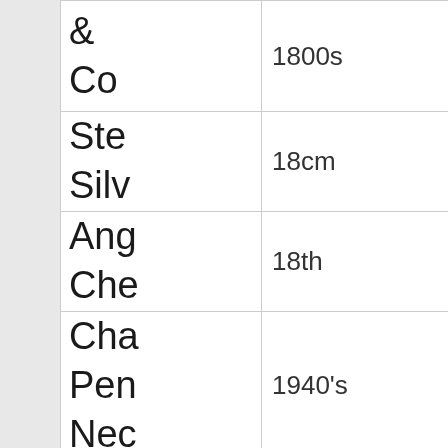| Item | Date/Measurement |
| --- | --- |
| & Co | 1800s |
| Ste... Silv... | 18cm |
| Ang... Che... | 18th |
| Cha... Pen... Nec... | 1940's |
| Bra... W Box is in | 1950s |
| sale... | 195cm |
|  | 1960s |